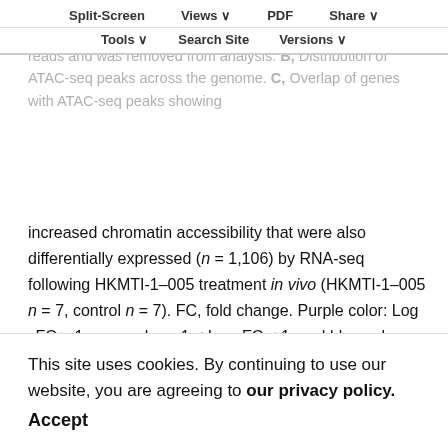samples (n = 5), before applying filtration criteria. One HKMTI-1–005 sample did not yield enough sequencing reads and was removed from analysis. B, Distribution of ATAC-seq peaks across the genome. C, Overlap of genes with ATAC-seq peaks showing increased chromatin accessibility that were also differentially expressed (n = 1,106) by RNA-seq following HKMTI-1–005 treatment in vivo (HKMTI-1–005 n = 7, control n = 7). FC, fold change. Purple color: Log 2FC ≥ 1, gray color: −1 < Log2FC ≤ 1, and blue color: Log2FC ≤ −1. D, Biological processes (BP) sub-ontology for 1,053 genes from C that overlapped with gene expression signatures from DAVID online Functional Annotation Tool. Gene count denotes the number of genes found to overlap with genes within the respective signature and the dot size represents the percentage of these genes within the signature. FE, fold enrichment. E and F, DEG following HKTML-1–005 classified by BP and KEGG sub-ontologies, respectively. Gene count denotes the number of genes found to overlap with genes within the respective signature and the dot size represents the
This site uses cookies. By continuing to use our website, you are agreeing to our privacy policy. Accept